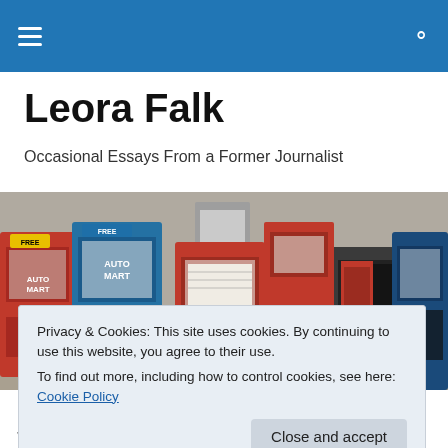Leora Falk – navigation bar with menu and search icons
Leora Falk
Occasional Essays From a Former Journalist
[Figure (photo): A row of colorful newspaper vending boxes (red, blue, dark) lined up on a sidewalk, some labeled FREE, AUTO MART, etc.]
Privacy & Cookies: This site uses cookies. By continuing to use this website, you agree to their use.
To find out more, including how to control cookies, see here: Cookie Policy
Something.